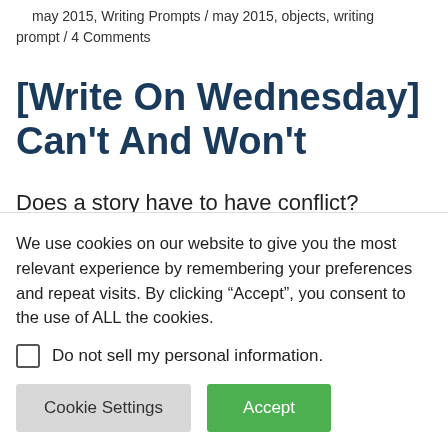may 2015, Writing Prompts / may 2015, objects, writing prompt / 4 Comments
[Write On Wednesday] Can't And Won't
Does a story have to have conflict? Does it have to have a beginning and a
We use cookies on our website to give you the most relevant experience by remembering your preferences and repeat visits. By clicking “Accept”, you consent to the use of ALL the cookies.
Do not sell my personal information.
Cookie Settings
Accept